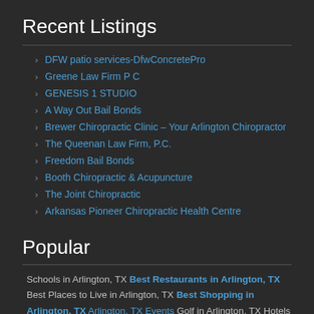Recent Listings
DFW patio services-DfwConcretePro
Greene Law Firm P C
GENESIS 1 STUDIO
A Way Out Bail Bonds
Brewer Chiropractic Clinic – Your Arlington Chiropractor
The Queenan Law Firm, P.C.
Freedom Bail Bonds
Booth Chiropractic & Acupuncture
The Joint Chiropractic
Arkansas Pioneer Chiropractic Health Centre
Popular
Schools in Arlington, TX Best Restaurants in Arlington, TX Best Places to Live in Arlington, TX Best Shopping in Arlington, TX Arlington, TX Events Golf in Arlington, TX Hotels in Arlington, TX Jobs in Arlington, TX Arlington, TX News Arlington, TX Weather Arlington Convention & Visitors Bureau